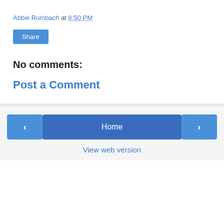Abbie Rumbach at 8:50 PM
Share
No comments:
Post a Comment
‹  Home  ›  View web version